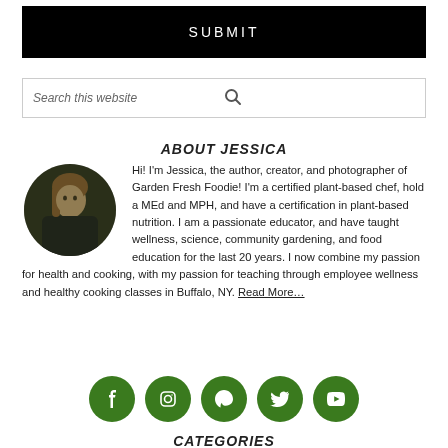[Figure (other): Black SUBMIT button]
[Figure (other): Search this website input bar with magnifying glass icon]
ABOUT JESSICA
[Figure (photo): Circular profile photo of Jessica]
Hi! I'm Jessica, the author, creator, and photographer of Garden Fresh Foodie! I'm a certified plant-based chef, hold a MEd and MPH, and have a certification in plant-based nutrition. I am a passionate educator, and have taught wellness, science, community gardening, and food education for the last 20 years. I now combine my passion for health and cooking, with my passion for teaching through employee wellness and healthy cooking classes in Buffalo, NY. Read More…
[Figure (other): Social media icons: Facebook, Instagram, Pinterest, Twitter, YouTube — all in green circles]
CATEGORIES